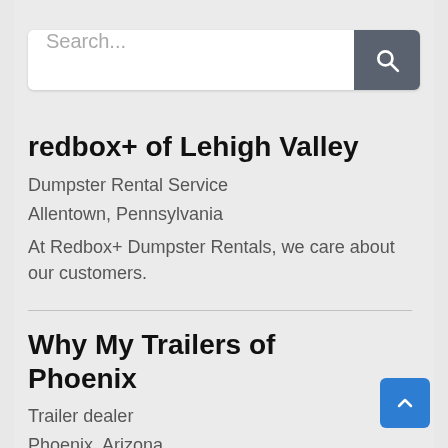[Figure (other): Search bar with text input placeholder 'Search...' and a dark gray search button with magnifying glass icon]
redbox+ of Lehigh Valley
Dumpster Rental Service
Allentown, Pennsylvania
At Redbox+ Dumpster Rentals, we care about our customers.
Why My Trailers of Phoenix
Trailer dealer
Phoenix, Arizona
Free Delivery